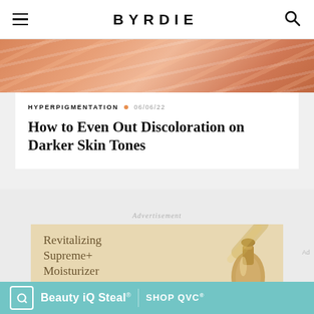BYRDIE
[Figure (photo): Hero image with warm orange/salmon gradient light streaks background]
HYPERPIGMENTATION  •  06/06/22
How to Even Out Discoloration on Darker Skin Tones
Advertisement
[Figure (photo): Advertisement for Revitalizing Supreme+ Moisturizer featuring a gold skincare bottle on a warm beige background]
[Figure (photo): Bottom banner ad: Beauty iQ Steal® SHOP QVC®]